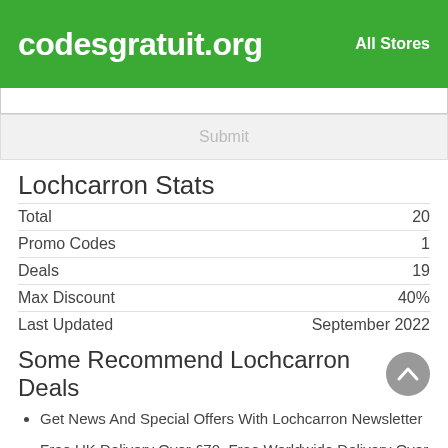codesgratuit.org   All Stores
Submit
Lochcarron Stats
|  |  |
| --- | --- |
| Total | 20 |
| Promo Codes | 1 |
| Deals | 19 |
| Max Discount | 40% |
| Last Updated | September 2022 |
Some Recommend Lochcarron Deals
Get News And Special Offers With Lochcarron Newsletter
Free UK Delivery Over £70, Free Worldwide Delivery Over £200